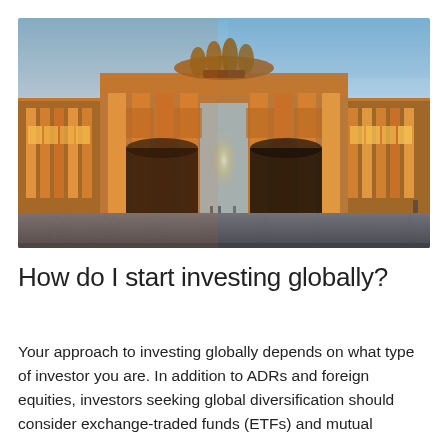[Figure (photo): Photograph of the Brandenburg Gate in Berlin at sunset/golden hour, with warm orange light illuminating the columns and a blue sky above. The gate is viewed straight-on with its broad plaza in the foreground.]
How do I start investing globally?
Your approach to investing globally depends on what type of investor you are. In addition to ADRs and foreign equities, investors seeking global diversification should consider exchange-traded funds (ETFs) and mutual